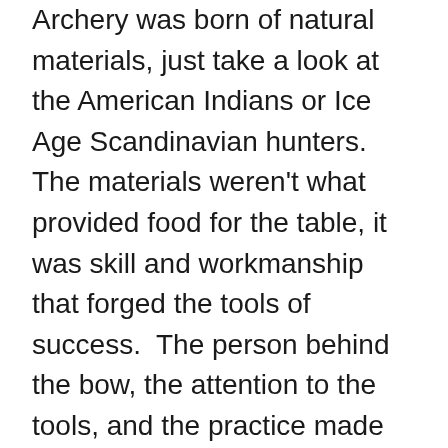Archery was born of natural materials, just take a look at the American Indians or Ice Age Scandinavian hunters. The materials weren't what provided food for the table, it was skill and workmanship that forged the tools of success. The person behind the bow, the attention to the tools, and the practice made all the difference which still stands mostly true today. Also being very, very, very hungry honed historical archers expertise. With modern advancements in technology and materials, an archer today can be more proficient than ever. Practice, practice, practice with attention to detail. We don't try and tell you what to shoot or how to shoot it, we just encourage individuals to get out and enjoy this wonderful sport we all love. We are here to provide you with all your traditional archery needs, wether you shoot wood arrows or modern arrows. We make all of our wood arrow styles with the option for carbon. We at Rose City Archery are dedicated